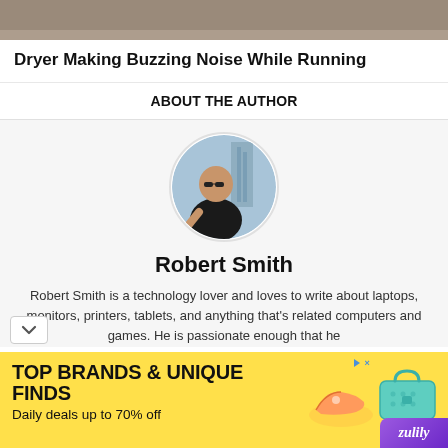[Figure (photo): Top portion of an article banner image, partially cropped]
Dryer Making Buzzing Noise While Running
ABOUT THE AUTHOR
[Figure (photo): Circular profile photo of Robert Smith, a man in a black shirt with sunglasses, city skyline in background]
Robert Smith
Robert Smith is a technology lover and loves to write about laptops, monitors, printers, tablets, and anything that's related computers and games. He is passionate enough that he
[Figure (infographic): Advertisement banner: TOP BRANDS & UNIQUE FINDS - Daily deals up to 70% off - Zulily]